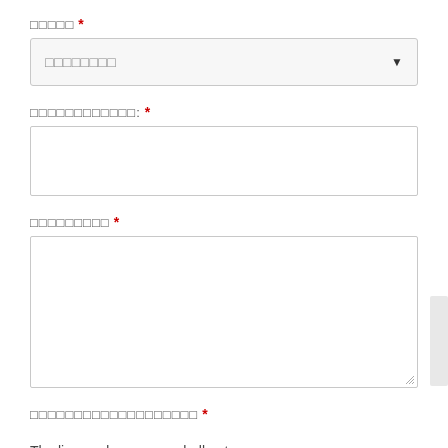□□□□□ *
[Figure (screenshot): Dropdown select input field with placeholder text (blocks) and dropdown arrow]
□□□□□□□□□□□□: *
[Figure (screenshot): Single-line text input field, empty]
□□□□□□□□□ *
[Figure (screenshot): Multi-line textarea input field, empty, with resize handle]
□□□□□□□□□□□□□□□□□□□ *
The licensed programs shall not be used for consulting activities